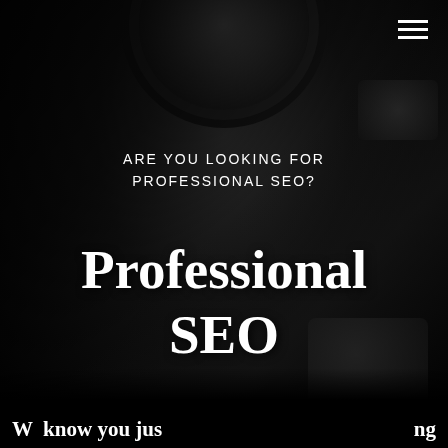[Figure (photo): Dark background with camera lens visible at top center, dark diagonal shading, black and white monochrome style]
ARE YOU LOOKING FOR PROFESSIONAL SEO?
Professional SEO
We know you just ng